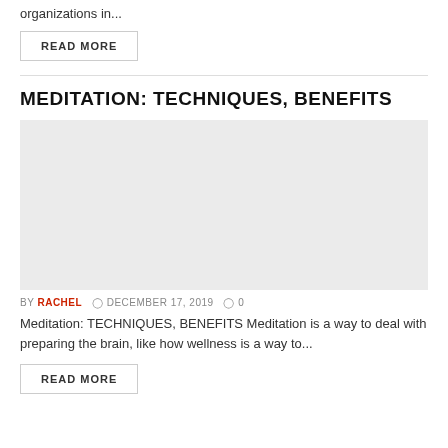organizations in...
READ MORE
MEDITATION: TECHNIQUES, BENEFITS
[Figure (photo): Placeholder image area with light gray background for meditation article]
BY RACHEL   DECEMBER 17, 2019   0
Meditation: TECHNIQUES, BENEFITS Meditation is a way to deal with preparing the brain, like how wellness is a way to...
READ MORE